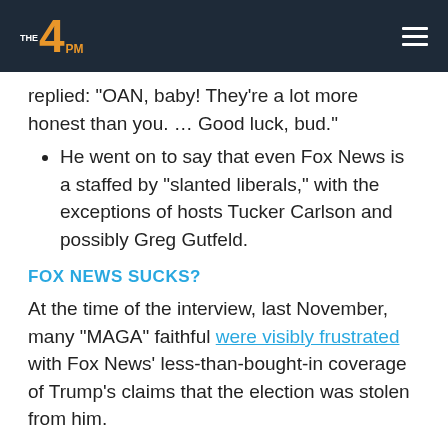The 4PM
replied: “OAN, baby! They’re a lot more honest than you. … Good luck, bud.”
He went on to say that even Fox News is a staffed by “slanted liberals,” with the exceptions of hosts Tucker Carlson and possibly Greg Gutfeld.
FOX NEWS SUCKS?
At the time of the interview, last November, many “MAGA” faithful were visibly frustrated with Fox News’ less-than-bought-in coverage of Trump’s claims that the election was stolen from him.
OAN and fellow pro-Trump cable news